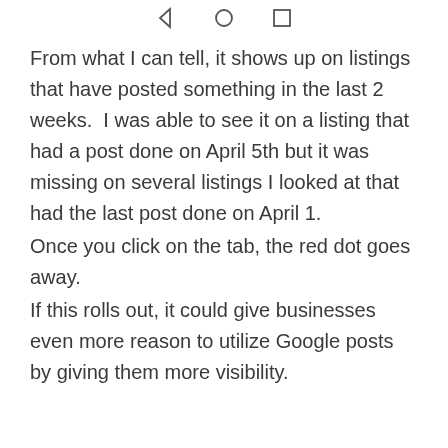◁  ○  □
From what I can tell, it shows up on listings that have posted something in the last 2 weeks.  I was able to see it on a listing that had a post done on April 5th but it was missing on several listings I looked at that had the last post done on April 1.
Once you click on the tab, the red dot goes away.
If this rolls out, it could give businesses even more reason to utilize Google posts by giving them more visibility.